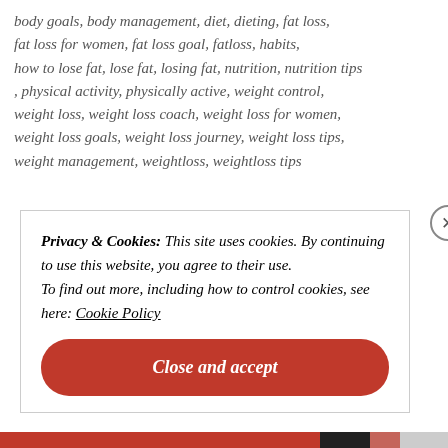body goals, body management, diet, dieting, fat loss, fat loss for women, fat loss goal, fatloss, habits, how to lose fat, lose fat, losing fat, nutrition, nutrition tips, physical activity, physically active, weight control, weight loss, weight loss coach, weight loss for women, weight loss goals, weight loss journey, weight loss tips, weight management, weightloss, weightloss tips
Privacy & Cookies: This site uses cookies. By continuing to use this website, you agree to their use. To find out more, including how to control cookies, see here: Cookie Policy
Close and accept